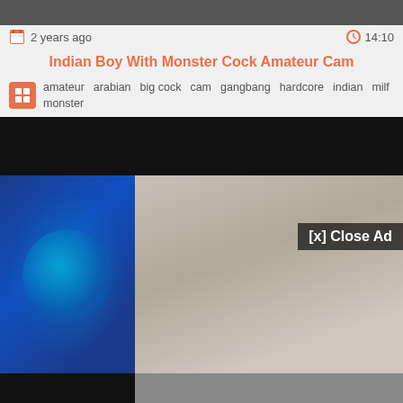[Figure (screenshot): Top portion of a video thumbnail, dark/blurred]
2 years ago   14:10
Indian Boy With Monster Cock Amateur Cam
amateur  arabian  big cock  cam  gangbang  hardcore  indian  milf  monster
[Figure (screenshot): Video player showing split view: left side blue t-shirt, right side blurred ad overlay with [x] Close Ad button]
2 years ago   0:45